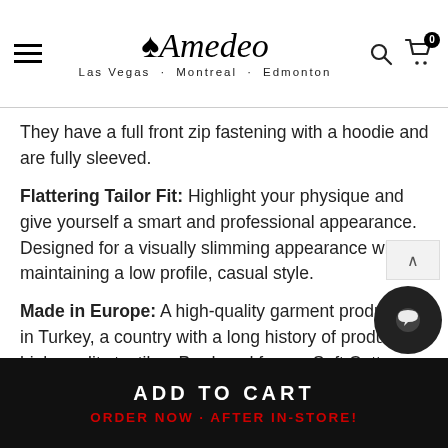Amedeo — Las Vegas · Montreal · Edmonton
They have a full front zip fastening with a hoodie and are fully sleeved.
Flattering Tailor Fit: Highlight your physique and give yourself a smart and professional appearance. Designed for a visually slimming appearance while maintaining a low profile, casual style.
Made in Europe: A high-quality garment produced in Turkey, a country with a long history of producing high-quality textiles. Produced from a Soft Cotton Wool Blend. Specifically designed for comfort.
ADD TO CART